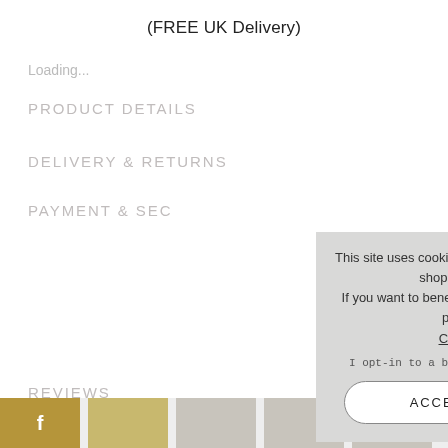(FREE UK Delivery)
Loading...
PRODUCT DETAILS
DELIVERY & RETURNS
PAYMENT & SEC...
REVIEWS
TOP
[Figure (screenshot): Cookie consent overlay with message: This site uses cookies to provide and improve your shopping experience. If you want to benefit from this improved service, please opt-in. Cookies Page. I opt-in to a better browsing experience. ACCEPT COOKIES button.]
[Figure (illustration): Social media icon buttons at the bottom: Facebook (f) gold button and other gold/gray social buttons]